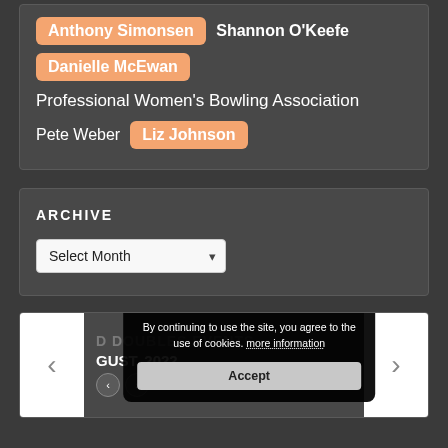Anthony Simonsen  Shannon O'Keefe
Danielle McEwan
Professional Women's Bowling Association
Pete Weber  Liz Johnson
ARCHIVE
Select Month
d Doubles EVENTS
GUST, 2022
By continuing to use the site, you agree to the use of cookies. more information
Accept